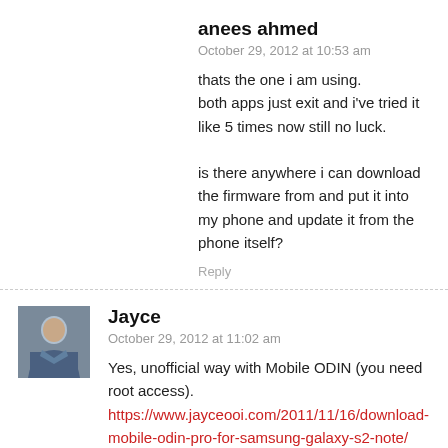anees ahmed
October 29, 2012 at 10:53 am
thats the one i am using.
both apps just exit and i've tried it like 5 times now still no luck.

is there anywhere i can download the firmware from and put it into my phone and update it from the phone itself?
Reply
[Figure (photo): Avatar photo of Jayce, a person in a blue outfit]
Jayce
October 29, 2012 at 11:02 am
Yes, unofficial way with Mobile ODIN (you need root access).
https://www.jayceooi.com/2011/11/16/download-mobile-odin-pro-for-samsung-galaxy-s2-note/
Reply